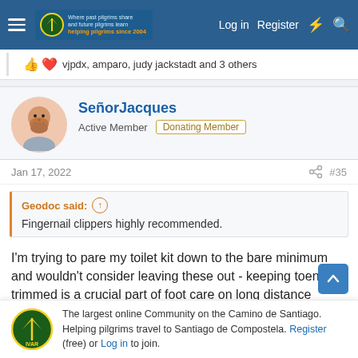Navigation bar with logo, Log in, Register links
vjpdx, amparo, judy jackstadt and 3 others
SeñorJacques
Active Member  Donating Member
Jan 17, 2022  #35
Geodoc said: ↑
Fingernail clippers highly recommended.
I'm trying to pare my toilet kit down to the bare minimum and wouldn't consider leaving these out - keeping toenails trimmed is a crucial part of foot care on long distance walks! While
The largest online Community on the Camino de Santiago. Helping pilgrims travel to Santiago de Compostela. Register (free) or Log in to join.